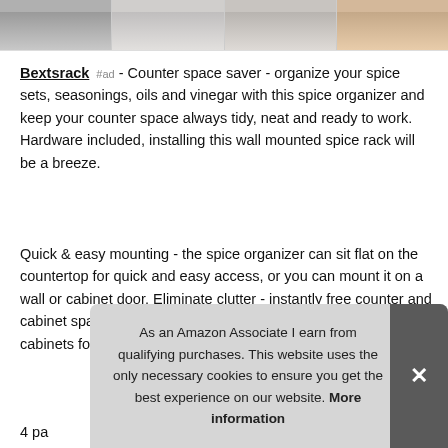[Figure (photo): Row of four product thumbnail images showing kitchen/spice rack scenes]
Bextsrack #ad - Counter space saver - organize your spice sets, seasonings, oils and vinegar with this spice organizer and keep your counter space always tidy, neat and ready to work. Hardware included, installing this wall mounted spice rack will be a breeze.
Quick & easy mounting - the spice organizer can sit flat on the countertop for quick and easy access, or you can mount it on a wall or cabinet door. Eliminate clutter - instantly free counter and cabinet space, save the time and hassle of searching through cabinets for desired ingredients and products, quickly view
4 pa
As an Amazon Associate I earn from qualifying purchases. This website uses the only necessary cookies to ensure you get the best experience on our website. More information